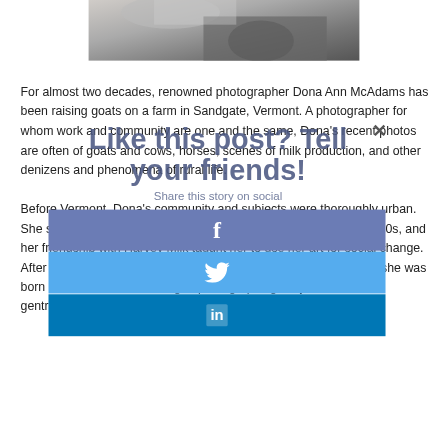[Figure (photo): Partial photo of a person, cropped at top of page, dark clothing visible]
For almost two decades, renowned photographer Dona Ann McAdams has been raising goats on a farm in Sandgate, Vermont. A photographer for whom work and community are one and the same, Dona's recent photos are often of goats and cows, horses, scenes of milk production, and other denizens and phenomena of rural life.

Before Vermont, Dona's community and subjects were thoroughly urban. She studied photography at the San Francisco Art Institute in the '70s, and her friendship with Harvey Milk taught her to use her art for social change. After Milk's assassination, Dona returned to New York City, where she was born and raised, and she began photographing subjects like the gentrification of the Lower East Side, the
[Figure (infographic): Social sharing overlay popup with title 'Like this post? Tell your friends!' and 'Share this story on social', with Facebook (blue-grey), Twitter (blue), and LinkedIn (dark blue) share buttons with respective icons]